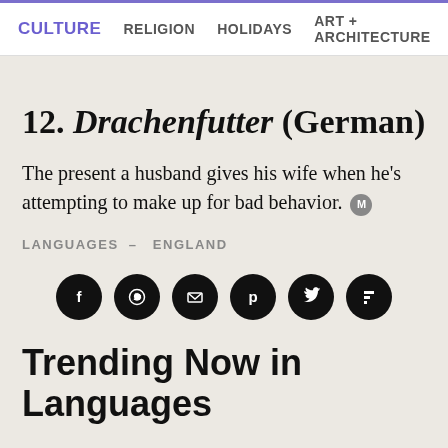CULTURE  RELIGION  HOLIDAYS  ART + ARCHITECTURE
12. Drachenfutter (German)
The present a husband gives his wife when he's attempting to make up for bad behavior.
LANGUAGES – ENGLAND
[Figure (infographic): Six social share icons: Facebook, WhatsApp, Email, Pinterest, Twitter, Flipboard — black circles with white icons]
Trending Now in Languages